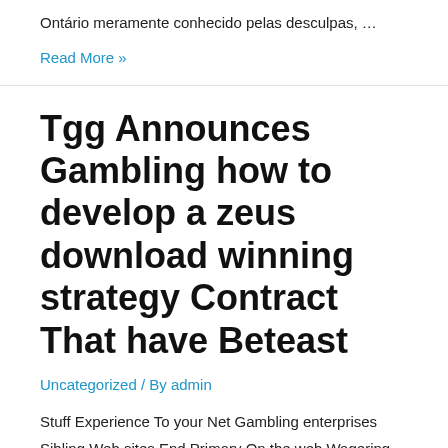Ontário meramente conhecido pelas desculpas, …
Read More »
Tgg Announces Gambling how to develop a zeus download winning strategy Contract That have Beteast
Uncategorized / By admin
Stuff Experience To your Net Gambling enterprises Sibling Web sites End Primary On the web Wagering Featuring its Very own App And you may, do you range from the start if your enjoy is still happening? And also to people who may suggest I just register for a free of charge demo and see – …